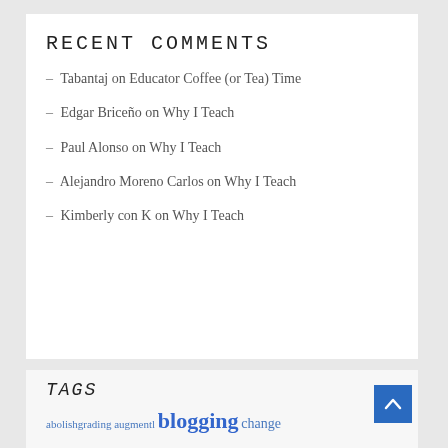RECENT COMMENTS
Tabantaj on Educator Coffee (or Tea) Time
Edgar Briceño on Why I Teach
Paul Alonso on Why I Teach
Alejandro Moreno Carlos on Why I Teach
Kimberly con K on Why I Teach
TAGS
abolishgrading augmentl blogging change